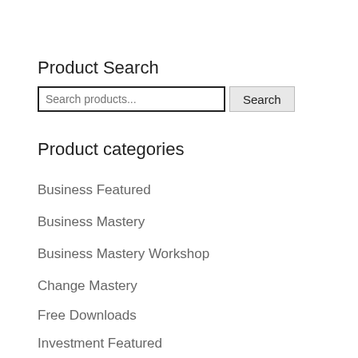Product Search
Search products... [Search]
Product categories
Business Featured
Business Mastery
Business Mastery Workshop
Change Mastery
Free Downloads
Investment Featured
Investment Mastery
June Real Estate Mastery Workshop
Lance Wallnau Specials